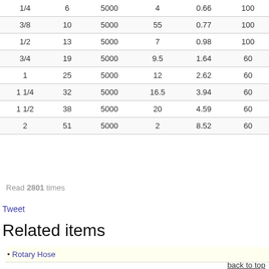| ID (in) | OD (in) | WP (Psi) | Min. Bend Radius(in) | Weight (kg/m) | Max. Length(m) |
| --- | --- | --- | --- | --- | --- |
| 1/4 | 6 | 5000 | 4 | 0.66 | 100 |
| 3/8 | 10 | 5000 | 55 | 0.77 | 100 |
| 1/2 | 13 | 5000 | 7 | 0.98 | 100 |
| 3/4 | 19 | 5000 | 9.5 | 1.64 | 60 |
| 1 | 25 | 5000 | 12 | 2.62 | 60 |
| 1 1/4 | 32 | 5000 | 16.5 | 3.94 | 60 |
| 1 1/2 | 38 | 5000 | 20 | 4.59 | 60 |
| 2 | 51 | 5000 | 2 | 8.52 | 60 |
Read 2801 times
Tweet
Related items
Rotary Hose
back to top